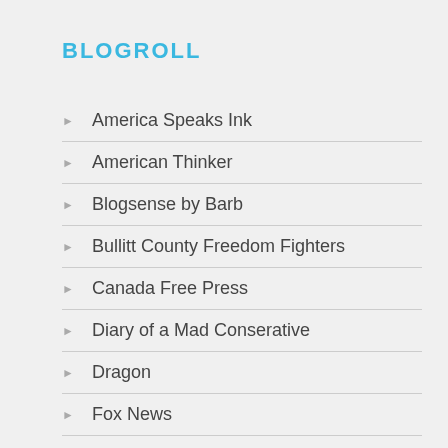BLOGROLL
America Speaks Ink
American Thinker
Blogsense by Barb
Bullitt County Freedom Fighters
Canada Free Press
Diary of a Mad Conserative
Dragon
Fox News
Funny Mail
Hensy's Kuleana